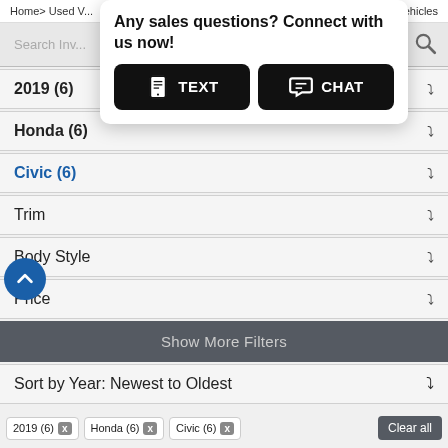Home > Used Vehicles | 6 Vehicles
[Figure (screenshot): Chat popup with text 'Any sales questions? Connect with us now!' and two buttons: TEXT and CHAT]
2019 (6)
Honda (6)
Civic (6)
Trim
Body Style
Price
Show More Filters
Sort by Year: Newest to Oldest
2019 (6)  x   Honda (6)  x   Civic (6)  x   Clear all